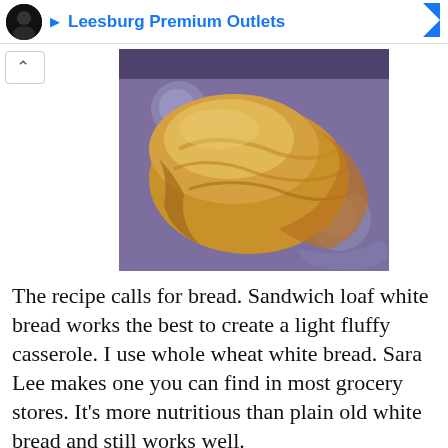Leesburg Premium Outlets
[Figure (photo): Close-up photo of a baked bread casserole or biscuit on a glass plate with purple background]
The recipe calls for bread. Sandwich loaf white bread works the best to create a light fluffy casserole. I use whole wheat white bread. Sara Lee makes one you can find in most grocery stores. It's more nutritious than plain old white bread and still works well.